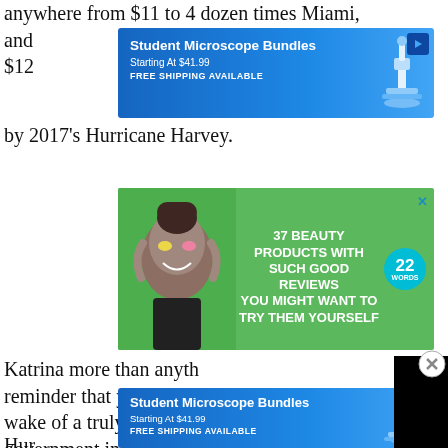anywhere from $11 to 4 dozen times Miami, and the largest recorded total bill ed by 2017's Hurricane Harvey.
[Figure (screenshot): Advertisement banner: Student Microscope Bundles, Starting At $41.99, FREE SHIPPING AVAILABLE, with microscope image]
[Figure (screenshot): Advertisement: 37 BEAUTY PRODUCTS WITH SUCH GOOD REVIEWS YOU MIGHT WANT TO TRY THEM YOURSELF, 22 Words badge, woman with colorful eye patches]
Katrina more than anyt reminder that you will b wake of a truly monstro government ineptitude federal level was on full display. Perhaps the magnitude of the carnage was simply beyond man's ken, but the lesson remains.
[Figure (screenshot): Black video player overlay with close circle button]
[Figure (screenshot): CLOSE button and advertisement: Student Microscope Bundles, Starting At $41.99, FREE SHIPPING AVAILABLE]
Hur 19